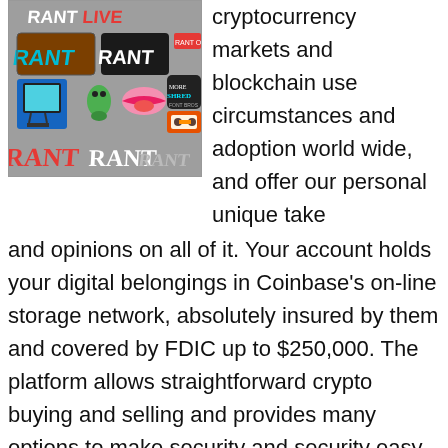[Figure (illustration): Collage of colorful sticker-style logos and text including 'RANT', 'MORE SHRED', and other graffiti/sticker style graphics on a grey background]
cryptocurrency markets and blockchain use circumstances and adoption world wide, and offer our personal unique take and opinions on all of it. Your account holds your digital belongings in Coinbase's on-line storage network, absolutely insured by them and covered by FDIC up to $250,000. The platform allows straightforward crypto buying and selling and provides many options to make security and security easy as effectively. However, many agree that VeChain buyers should put together for massive growth as the worth bottoms out.
They function on many in style decentralized forex markets, providing buying and selling systems for XRP